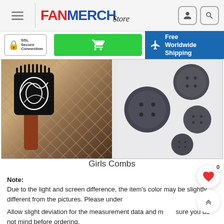FANMERCH Store
[Figure (photo): SSL Secure Connection badge, green cart button, Free Worldwide Shipping blue banner with airplane icon]
[Figure (photo): Two product photos of Girls Combs side by side: left shows black decorative comb on rope net background, right shows several dark grey round buttons/stones on white surface]
Girls Combs
Note: Due to the light and screen difference, the item's color may be slightly different from the pictures. Please understand.
Allow slight deviation for the measurement data and make sure you do not mind before ordering.